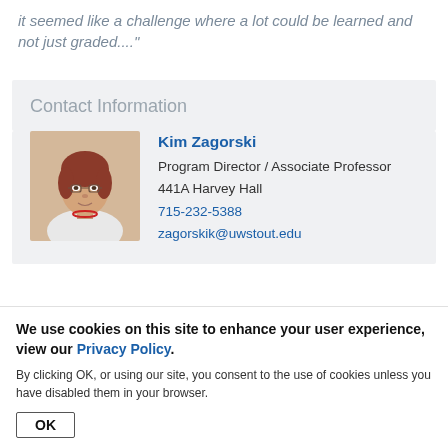it seemed like a challenge where a lot could be learned and not just graded...."
Contact Information
[Figure (photo): Headshot photo of Kim Zagorski, a woman with short reddish-brown hair and glasses, wearing a white top with a red necklace.]
Kim Zagorski
Program Director / Associate Professor
441A Harvey Hall
715-232-5388
zagorskik@uwstout.edu
We use cookies on this site to enhance your user experience, view our Privacy Policy.
By clicking OK, or using our site, you consent to the use of cookies unless you have disabled them in your browser.
OK